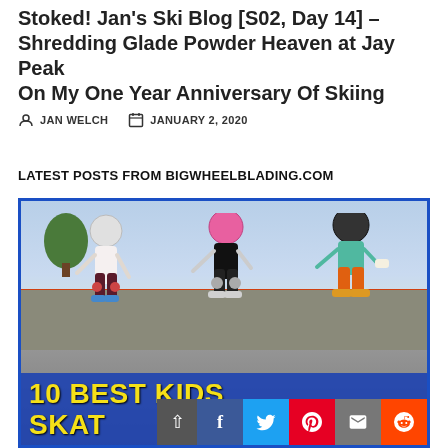Stoked! Jan's Ski Blog [S02, Day 14] – Shredding Glade Powder Heaven at Jay Peak On My One Year Anniversary Of Skiing
JAN WELCH   JANUARY 2, 2020
LATEST POSTS FROM BIGWHEELBLADING.COM
[Figure (photo): Three children wearing helmets and inline skates at an outdoor skate area with a stone wall in the background. Overlaid text reads '10 BEST KIDS SKATES 2022' in bold yellow on a blue background. Social media share buttons (Facebook, Twitter, Pinterest, Email, Reddit) visible at the bottom.]